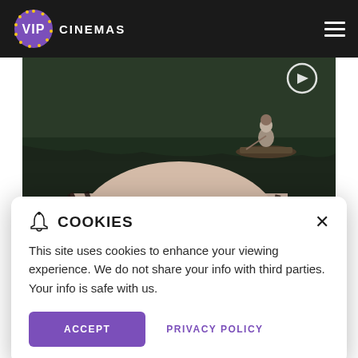VIP CINEMAS
[Figure (photo): Movie promotional image for 'Where the Crawdads Sing' showing a composite of a woman's face and a person in a boat on a dark swamp/marsh scene]
WHERE THE CRAWDADS SING
COOKIES - This site uses cookies to enhance your viewing experience. We do not share your info with third parties. Your info is safe with us.
ACCEPT | PRIVACY POLICY